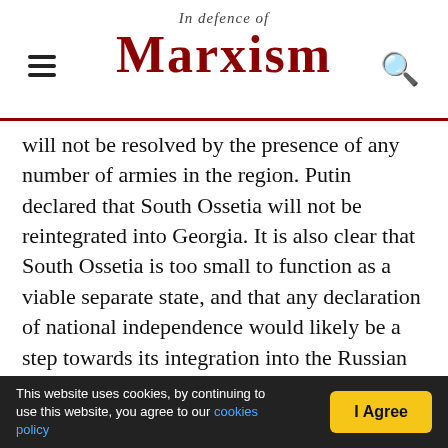In defence of Marxism
will not be resolved by the presence of any number of armies in the region. Putin declared that South Ossetia will not be reintegrated into Georgia. It is also clear that South Ossetia is too small to function as a viable separate state, and that any declaration of national independence would likely be a step towards its integration into the Russian Federation.
Imperialism and capitalism are part of the problem, not the solution. The national question simply cannot be solved within capitalism. This is true not for ideological reasons, but for very material ones. Lenin described the national question as a matter of
This website uses cookies, by continuing to use this website, you agree to our cookies policy  I Agree